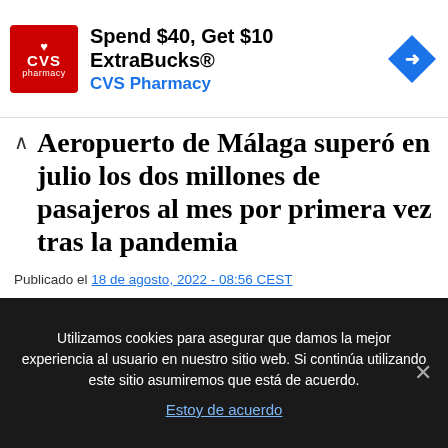[Figure (other): CVS Pharmacy advertisement banner: Spend $40, Get $10 ExtraBucks® CVS Pharmacy, with CVS logo and blue diamond arrow icon]
Aeropuerto de Málaga superó en julio los dos millones de pasajeros al mes por primera vez tras la pandemia
Publicado el 18 de agosto, 2022 - 08:56 CEST
El Aeropuerto de Málaga-Costa del Sol superó en julio por primera vez tras la pandemia los dos millones de pasajeros al mes. La infraestructura cerró julio con 2.064.856 viajeros, una cifra que equivale a una
Utilizamos cookies para asegurar que damos la mejor experiencia al usuario en nuestro sitio web. Si continúa utilizando este sitio asumiremos que está de acuerdo. Estoy de acuerdo